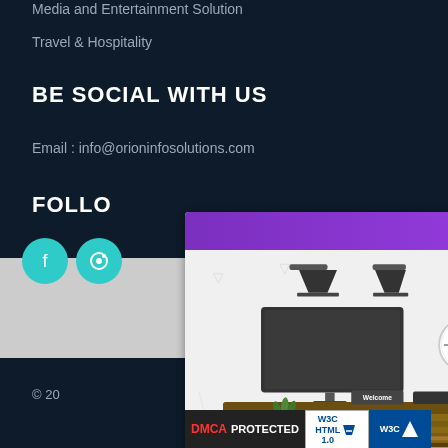Media and Entertainment Solution
Travel & Hospitality
BE SOCIAL WITH US
Email : info@orioninfosolutions.com
FOLLO...
[Figure (illustration): Popup dialog with purple header bar, refresh and close buttons, and an illustration of a hotel reception desk scene with a female receptionist, TV screen on wall, three clocks showing different times, a welcome sign, and decorative plants]
© 20...
[Figure (other): DMCA Protected badge and W3C HTML validation badges at bottom]